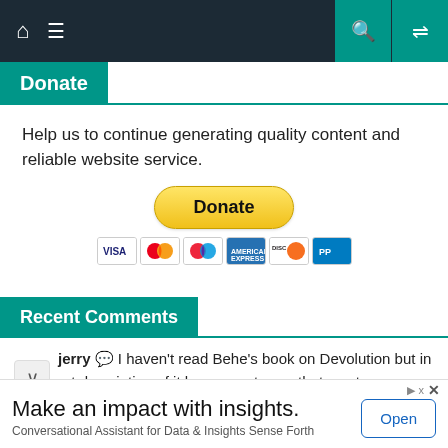Navigation bar with home, menu, search, and shuffle icons
Donate
Help us to continue generating quality content and reliable website service.
[Figure (other): PayPal Donate button with credit card icons (Visa, Mastercard, Maestro, Amex, Discover)]
Recent Comments
jerry 💬 I haven't read Behe's book on Devolution but in short description of it he seems to say that most… –
[Figure (other): Advertisement banner: Make an impact with insights. Conversational Assistant for Data & Insights Sense Forth. Open button.]